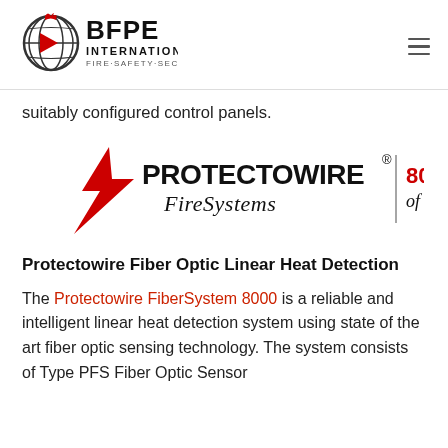BFPE INTERNATIONAL FIRE·SAFETY·SECURITY
suitably configured control panels.
[Figure (logo): Protectowire FireSystems logo with red lightning bolt and text '80 YEARS of excellence']
Protectowire Fiber Optic Linear Heat Detection
The Protectowire FiberSystem 8000 is a reliable and intelligent linear heat detection system using state of the art fiber optic sensing technology. The system consists of Type PFS Fiber Optic Sensor